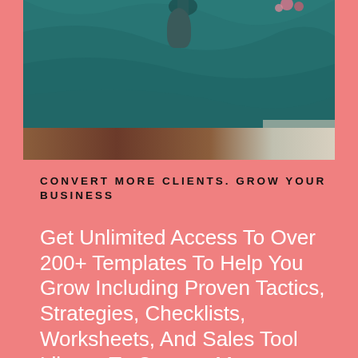[Figure (photo): Photo of a teal/dark green cloth draped over a surface, with a decorative rug visible underneath and what appears to be flowers or plants at the top]
CONVERT MORE CLIENTS. GROW YOUR BUSINESS
Get Unlimited Access To Over 200+ Templates To Help You Grow Including Proven Tactics, Strategies, Checklists, Worksheets, And Sales Tool Library To Convert More Prospects Into Instantly-Paying, High-Average Cart Value, High Lifetime Value Clients